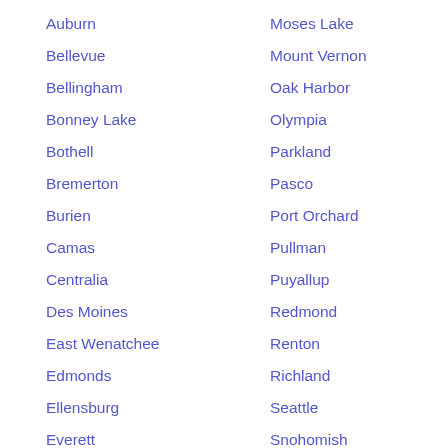Auburn
Moses Lake
Bellevue
Mount Vernon
Bellingham
Oak Harbor
Bonney Lake
Olympia
Bothell
Parkland
Bremerton
Pasco
Burien
Port Orchard
Camas
Pullman
Centralia
Puyallup
Des Moines
Redmond
East Wenatchee
Renton
Edmonds
Richland
Ellensburg
Seattle
Everett
Snohomish